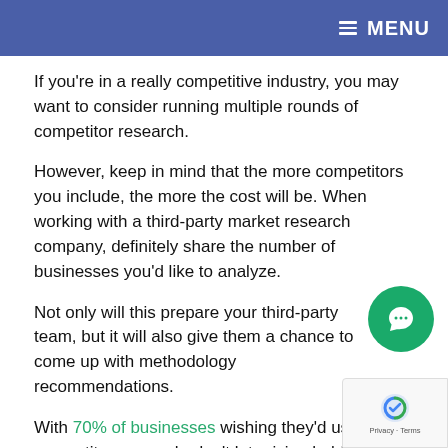≡ MENU
If you're in a really competitive industry, you may want to consider running multiple rounds of competitor research.
However, keep in mind that the more competitors you include, the more the cost will be. When working with a third-party market research company, definitely share the number of businesses you'd like to analyze.
Not only will this prepare your third-party team, but it will also give them a chance to come up with methodology recommendations.
With 70% of businesses wishing they'd used competitor research, don't let pricing hold you back.